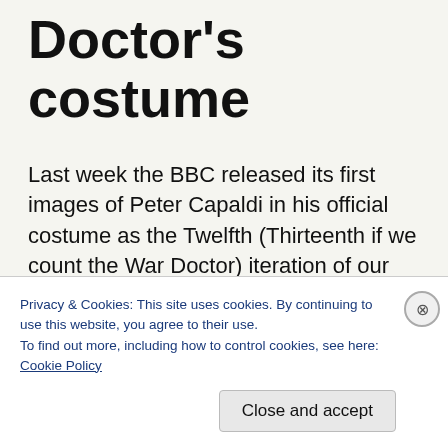Doctor's costume
Last week the BBC released its first images of Peter Capaldi in his official costume as the Twelfth (Thirteenth if we count the War Doctor) iteration of our favorite Time Lord, the Doctor, and oh what a costume it is! My basic reaction? Love! His coat and vest is similar to the last
Privacy & Cookies: This site uses cookies. By continuing to use this website, you agree to their use.
To find out more, including how to control cookies, see here: Cookie Policy
Close and accept